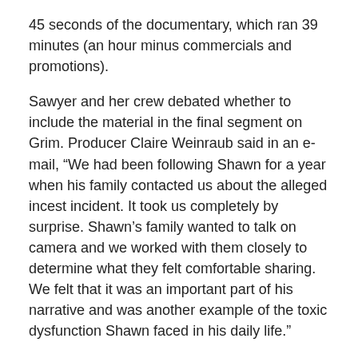45 seconds of the documentary, which ran 39 minutes (an hour minus commercials and promotions).
Sawyer and her crew debated whether to include the material in the final segment on Grim. Producer Claire Weinraub said in an e-mail, “We had been following Shawn for a year when his family contacted us about the alleged incest incident. It took us completely by surprise. Shawn’s family wanted to talk on camera and we worked with them closely to determine what they felt comfortable sharing. We felt that it was an important part of his narrative and was another example of the toxic dysfunction Shawn faced in his daily life.”
All true, but the story would not have suffered without it. Instead, Appalachians suffered more stereotyping. Still, journalism ethics is usually a matter of balancing interests. Perhaps a greater good, more discussion about the region’s problems, will result. That would honor another part of the code, which says we should, “Give voice to the voiceless.”